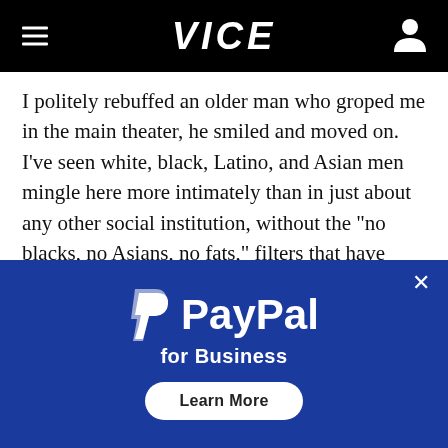VICE
I politely rebuffed an older man who groped me in the main theater, he smiled and moved on. I've seen white, black, Latino, and Asian men mingle here more intimately than in just about any other social institution, without the "no blacks, no Asians, no fats," filters that have become commonplace on apps like Grindr. Once, I watched a guy strolling an aisle pause to chat briefly with a man stroking away in a seat.
[Figure (screenshot): PayPal for Business advertisement banner with blue background, PayPal logo, and Learn More button]